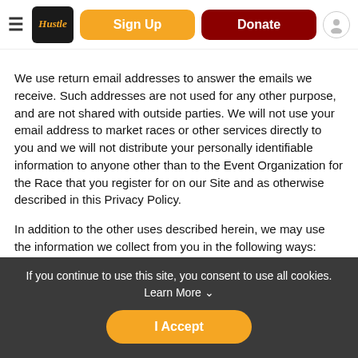Hustle | Sign Up | Donate
We use return email addresses to answer the emails we receive. Such addresses are not used for any other purpose, and are not shared with outside parties. We will not use your email address to market races or other services directly to you and we will not distribute your personally identifiable information to anyone other than to the Event Organization for the Race that you register for on our Site and as otherwise described in this Privacy Policy.
In addition to the other uses described herein, we may use the information we collect from you in the following ways:
To respond to your questions and requests;
To allow us to provide customer support in connection with
If you continue to use this site, you consent to use all cookies. Learn More
I Accept